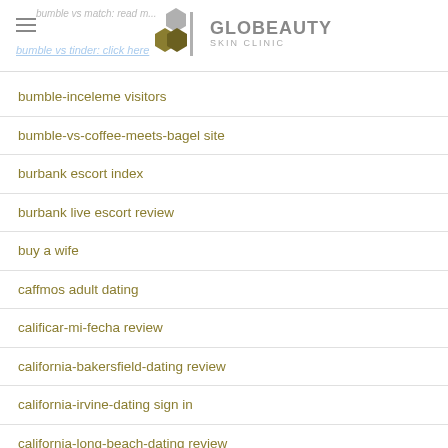Globeauty Skin Clinic
bumble-inceleme visitors
bumble-vs-coffee-meets-bagel site
burbank escort index
burbank live escort review
buy a wife
caffmos adult dating
calificar-mi-fecha review
california-bakersfield-dating review
california-irvine-dating sign in
california-long-beach-dating review